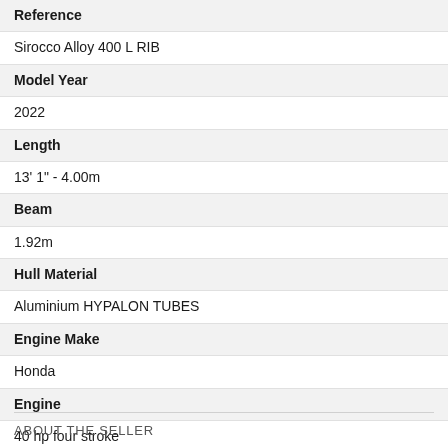Reference
Sirocco Alloy 400 L RIB
Model Year
2022
Length
13' 1" - 4.00m
Beam
1.92m
Hull Material
Aluminium HYPALON TUBES
Engine Make
Honda
Engine
40 hp four stroke
ABOUT THE SELLER